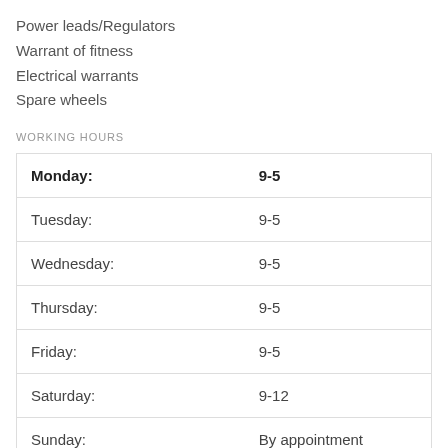Power leads/Regulators
Warrant of fitness
Electrical warrants
Spare wheels
WORKING HOURS
| Day | Hours |
| --- | --- |
| Monday: | 9-5 |
| Tuesday: | 9-5 |
| Wednesday: | 9-5 |
| Thursday: | 9-5 |
| Friday: | 9-5 |
| Saturday: | 9-12 |
| Sunday: | By appointment |